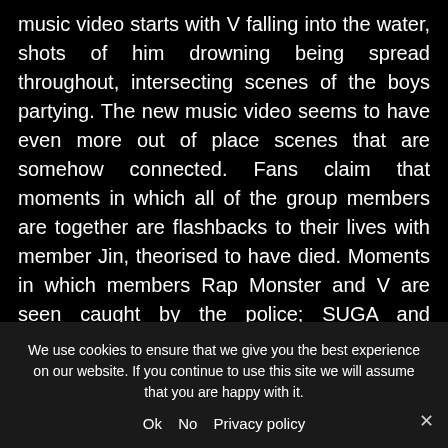music video starts with V falling into the water, shots of him drowning being spread throughout, intersecting scenes of the boys partying. The new music video seems to have even more out of place scenes that are somehow connected. Fans claim that moments in which all of the group members are together are flashbacks to their lives with member Jin, theorised to have died. Moments in which members Rap Monster and V are seen caught by the police; SUGA and JungKook fist fighting; and J-Hope and Jimin pillow fighting in what seems to be a hospital room represent different coping mechanisms. Jin is seen looking directly into the camera, seemingly terrified, before the music video cuts into V's drowning scene
We use cookies to ensure that we give you the best experience on our website. If you continue to use this site we will assume that you are happy with it.
Ok  No  Privacy policy